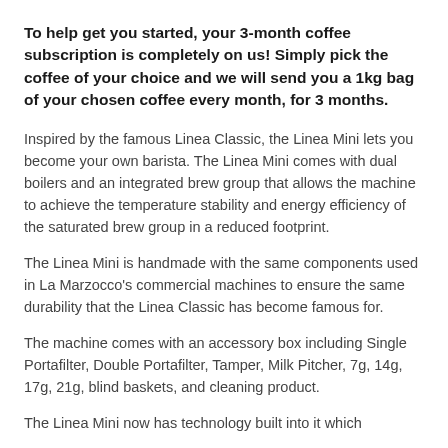To help get you started, your 3-month coffee subscription is completely on us! Simply pick the coffee of your choice and we will send you a 1kg bag of your chosen coffee every month, for 3 months.
Inspired by the famous Linea Classic, the Linea Mini lets you become your own barista. The Linea Mini comes with dual boilers and an integrated brew group that allows the machine to achieve the temperature stability and energy efficiency of the saturated brew group in a reduced footprint.
The Linea Mini is handmade with the same components used in La Marzocco's commercial machines to ensure the same durability that the Linea Classic has become famous for.
The machine comes with an accessory box including Single Portafilter, Double Portafilter, Tamper, Milk Pitcher, 7g, 14g, 17g, 21g, blind baskets, and cleaning product.
The Linea Mini now has technology built into it which